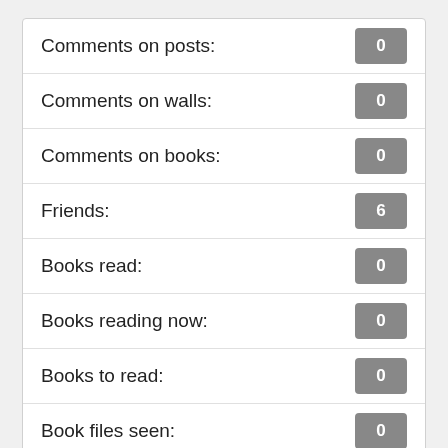| Label | Value |
| --- | --- |
| Comments on posts: | 0 |
| Comments on walls: | 0 |
| Comments on books: | 0 |
| Friends: | 6 |
| Books read: | 0 |
| Books reading now: | 0 |
| Books to read: | 0 |
| Book files seen: | 0 |
| Profile seen: | 325 times |